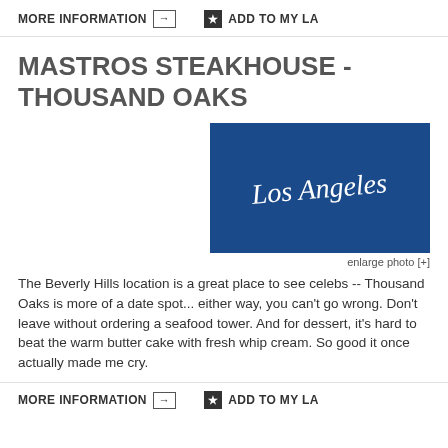MORE INFORMATION → ★ ADD TO MY LA
MASTROS STEAKHOUSE - THOUSAND OAKS
[Figure (photo): Blue background with cursive 'Los Angeles' text in white]
enlarge photo [+]
The Beverly Hills location is a great place to see celebs -- Thousand Oaks is more of a date spot... either way, you can't go wrong. Don't leave without ordering a seafood tower. And for dessert, it's hard to beat the warm butter cake with fresh whip cream. So good it once actually made me cry.
MORE INFORMATION → ★ ADD TO MY LA